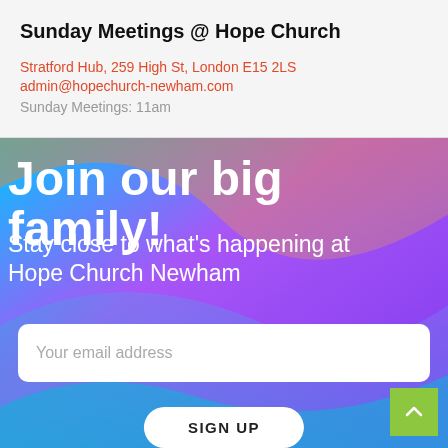Sunday Meetings @ Hope Church
Stratford Hub, 259 High St, London E15 2LS
admin@hopechurch-newham.com
Sunday Meetings: 11am
Join our big family!
Stay close to what's happening at Hope Church Newham
Your email address
SIGN UP